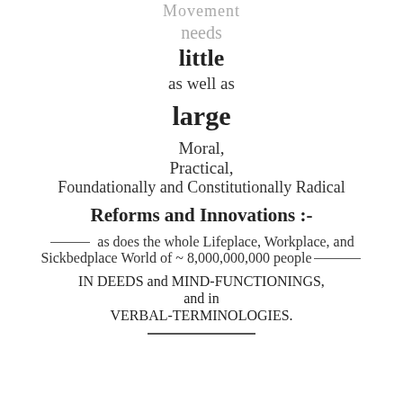Movement
needs
little
as well as
large
Moral,
Practical,
Foundationally and Constitutionally Radical
Reforms and Innovations :-
——— as does the whole Lifeplace, Workplace, and Sickbedplace World of ~ 8,000,000,000 people———
IN DEEDS and MIND-FUNCTIONINGS,
and in
VERBAL-TERMINOLOGIES.